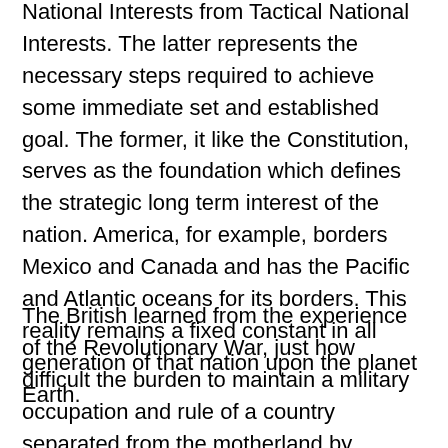National Interests from Tactical National Interests. The latter represents the necessary steps required to achieve some immediate set and established goal. The former, it like the Constitution, serves as the foundation which defines the strategic long term interest of the nation. America, for example, borders Mexico and Canada and has the Pacific and Atlantic oceans for its borders. This reality remains a fixed constant in all generation of that nation upon the planet Earth.
The British learned from the experience of the Revolutionary War, just how difficult the burden to maintain a military occupation and rule of a country separated from the motherland by thousands of miles distance. The post WWll Pax American empire, likewise in its own turn